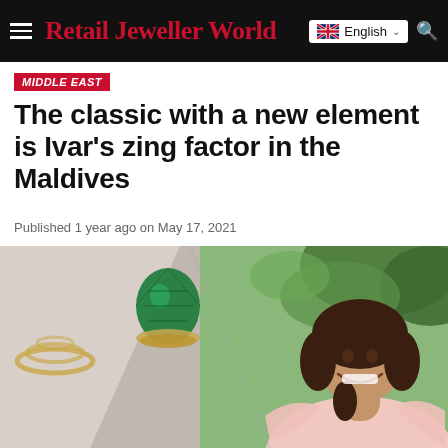Retail Jeweller World
MIDDLE EAST
The classic with a new element is Ivar's zing factor in the Maldives
Published 1 year ago on May 17, 2021
[Figure (photo): Split composite image: left side shows jewelry pieces including a coiled gold ring and a green gemstone-encrusted cone-shaped piece on a light surface; right side shows a smiling young woman with shoulder-length dark hair wearing a pink ruffled sleeveless top, seated outdoors with green foliage in background.]